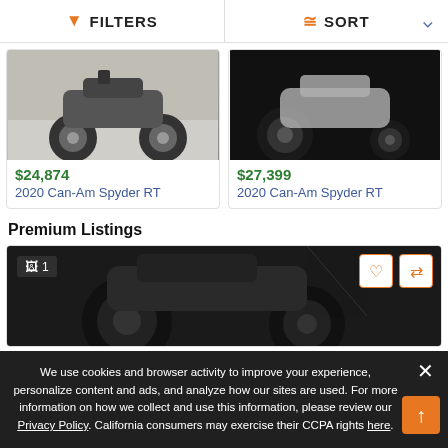FILTERS | SORT
[Figure (photo): 2020 Can-Am Spyder RT motorcycle, silver/gray, parked outdoors]
$24,874
2020 Can-Am Spyder RT
[Figure (photo): 2020 Can-Am Spyder RT motorcycle, dark/black, close-up wheel view]
$27,399
2020 Can-Am Spyder RT
Premium Listings
[Figure (photo): Premium listing motorcycle photo, dark background, partial view]
We use cookies and browser activity to improve your experience, personalize content and ads, and analyze how our sites are used. For more information on how we collect and use this information, please review our Privacy Policy. California consumers may exercise their CCPA rights here.